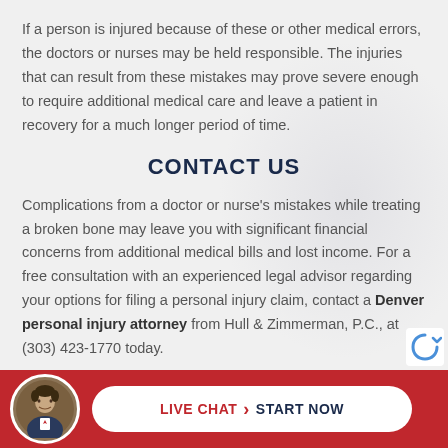If a person is injured because of these or other medical errors, the doctors or nurses may be held responsible. The injuries that can result from these mistakes may prove severe enough to require additional medical care and leave a patient in recovery for a much longer period of time.
CONTACT US
Complications from a doctor or nurse's mistakes while treating a broken bone may leave you with significant financial concerns from additional medical bills and lost income. For a free consultation with an experienced legal advisor regarding your options for filing a personal injury claim, contact a Denver personal injury attorney from Hull & Zimmerman, P.C., at (303) 423-1770 today.
[Figure (photo): Bottom bar with red background, circular avatar photo of a man in a suit, and a white pill-shaped button reading LIVE CHAT > START NOW]